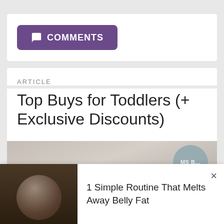COMMENTS
ARTICLE
Top Buys for Toddlers (+ Exclusive Discounts)
[Figure (photo): Partially visible background image with a circular badge showing 'MS B...' text]
[Figure (photo): Advertisement banner showing a person with food, with text '1 Simple Routine That Melts Away Belly Fat' and a close button]